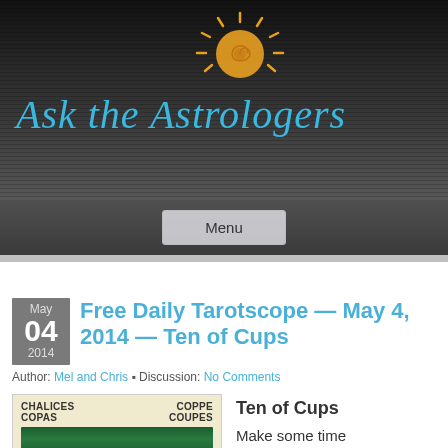[Figure (logo): Ask the Astrologers website logo with sun icon and blue italic text on dark textured background]
Menu
Free Daily Tarotscope — May 4, 2014 — Ten of Cups
Author: Mel and Chris • Discussion: No Comments
[Figure (photo): Tarot card image showing Ten of Cups with labels CHALICES COPAS on left and COPPE COUPES on right, green image of cups at bottom]
Ten of Cups
Make some time